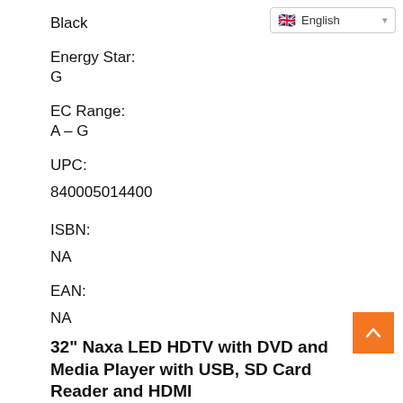Black
English
Energy Star:
G
EC Range:
A – G
UPC:
840005014400
ISBN:
NA
EAN:
NA
32" Naxa LED HDTV with DVD and Media Player with USB, SD Card Reader and HDMI